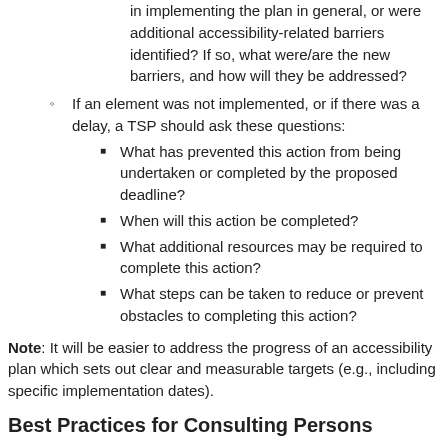in implementing the plan in general, or were additional accessibility-related barriers identified? If so, what were/are the new barriers, and how will they be addressed?
If an element was not implemented, or if there was a delay, a TSP should ask these questions:
What has prevented this action from being undertaken or completed by the proposed deadline?
When will this action be completed?
What additional resources may be required to complete this action?
What steps can be taken to reduce or prevent obstacles to completing this action?
Note: It will be easier to address the progress of an accessibility plan which sets out clear and measurable targets (e.g., including specific implementation dates).
Best Practices for Consulting Persons